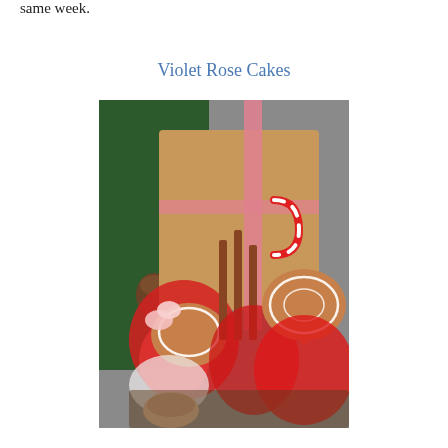same week.
Violet Rose Cakes
[Figure (photo): A festive gift box arrangement with gingerbread heart cookies decorated with white icing, candy canes, colorful candies, marshmallows, and red tissue paper, placed near a Christmas tree with pine branches and a pine cone in the background.]